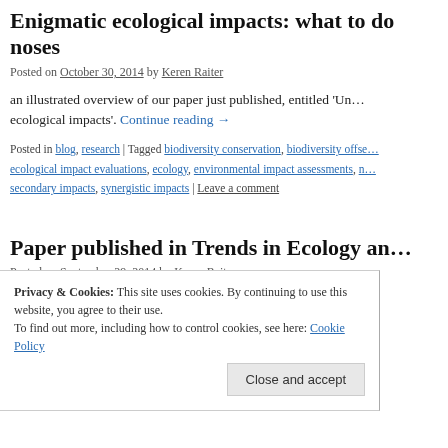Enigmatic ecological impacts: what to do with noses
Posted on October 30, 2014 by Keren Raiter
an illustrated overview of our paper just published, entitled 'Un… ecological impacts'. Continue reading →
Posted in blog, research | Tagged biodiversity conservation, biodiversity offse… ecological impact evaluations, ecology, environmental impact assessments, n… secondary impacts, synergistic impacts | Leave a comment
Paper published in Trends in Ecology an…
Posted on September 29, 2014 by Keren Raiter
Privacy & Cookies: This site uses cookies. By continuing to use this website, you agree to their use. To find out more, including how to control cookies, see here: Cookie Policy
Continue reading →